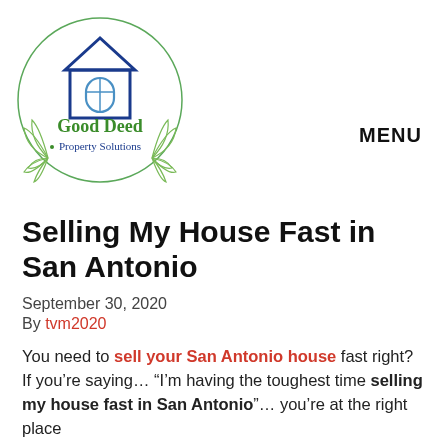[Figure (logo): Good Deed Property Solutions logo: a circular emblem with a house icon (blue roof and window) inside a circle, flanked by green leaf branches, with 'Good Deed' in green script and 'Property Solutions' in blue below]
MENU
Selling My House Fast in San Antonio
September 30, 2020
By tvm2020
You need to sell your San Antonio house fast right?  If you’re saying… “I’m having the toughest time selling my house fast in San Antonio”… you’re at the right place